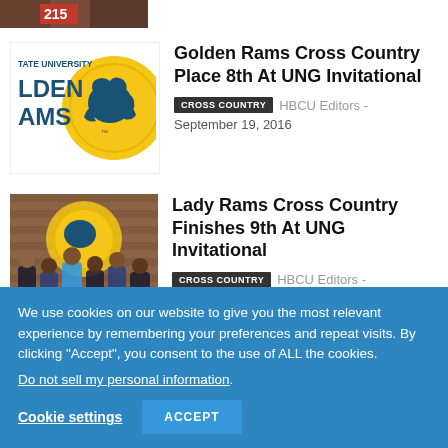[Figure (photo): Cropped top of page showing partial image with number 215 visible on a red/dark background]
[Figure (logo): Fort Valley State University Golden Rams logo - blue text 'TATE UNIVERSITY' and 'LDEN AMS' with yellow/gold circular ram logo]
Golden Rams Cross Country Place 8th At UNG Invitational
CROSS COUNTRY  HBCU Editors - September 19, 2016
[Figure (photo): Photo of Lady Rams cross country team with coaches standing in front of a brick wall with Golden Rams logo]
Lady Rams Cross Country Finishes 9th At UNG Invitational
CROSS COUNTRY  HBCU Editors - September 19, 2016
We use cookies on our website to give you the most relevant experience by remembering your preferences and repeat visits. By clicking "Accept", you consent to the use of ALL the cookies.
Do not sell my personal information.
Cookie settings  ACCEPT